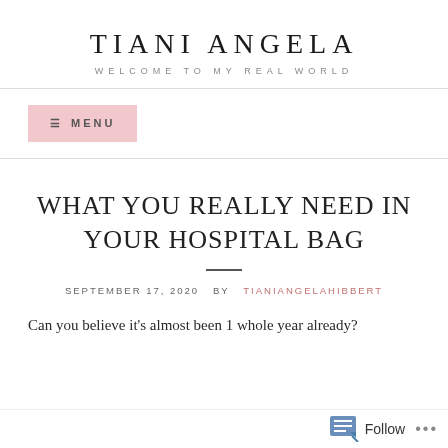TIANI ANGELA
WELCOME TO MY REAL WORLD
≡ MENU
WHAT YOU REALLY NEED IN YOUR HOSPITAL BAG
SEPTEMBER 17, 2020  BY  TIANIANGELA HIBBERT
Can you believe it's almost been 1 whole year already?